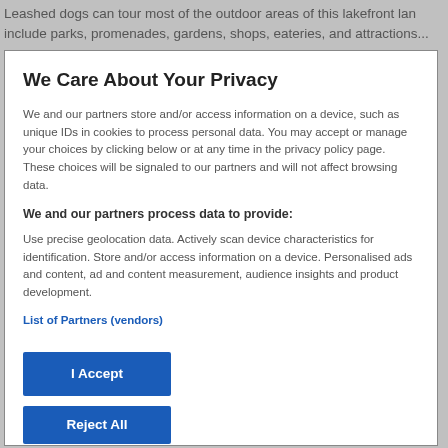Leashed dogs can tour most of the outdoor areas of this lakefront la... include parks, promenades, gardens, shops, eateries, and attractions...
We Care About Your Privacy
We and our partners store and/or access information on a device, such as unique IDs in cookies to process personal data. You may accept or manage your choices by clicking below or at any time in the privacy policy page. These choices will be signaled to our partners and will not affect browsing data.
We and our partners process data to provide:
Use precise geolocation data. Actively scan device characteristics for identification. Store and/or access information on a device. Personalised ads and content, ad and content measurement, audience insights and product development.
List of Partners (vendors)
I Accept
Reject All